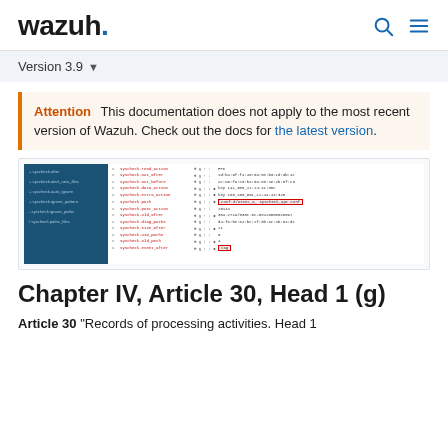wazuh.
Version 3.9
Attention  This documentation does not apply to the most recent version of Wazuh. Check out the docs for the latest version.
[Figure (screenshot): Screenshot of a Wazuh interface showing a table of syscheck rules with columns for rule names, permissions/icons, and values. One row is highlighted with a red box.]
Chapter IV, Article 30, Head 1 (g)
Article 30 "Records of processing activities. Head 1